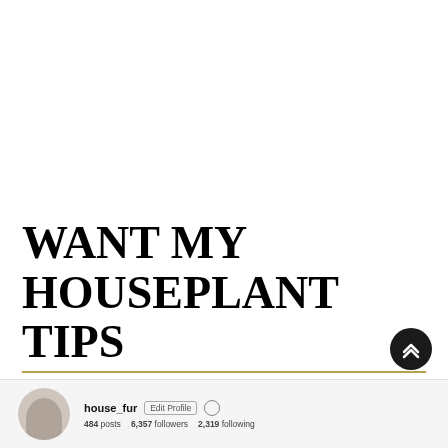WANT MY HOUSEPLANT TIPS TO POP UP ON YOUR FEED?? FOLLOW ME ON INSTAGRAM! @HOUSE_FUR
[Figure (screenshot): Instagram profile preview strip at bottom showing avatar, username house_fur, Edit Profile button, and stats: 484 posts, 6,357 followers, 2,319 following]